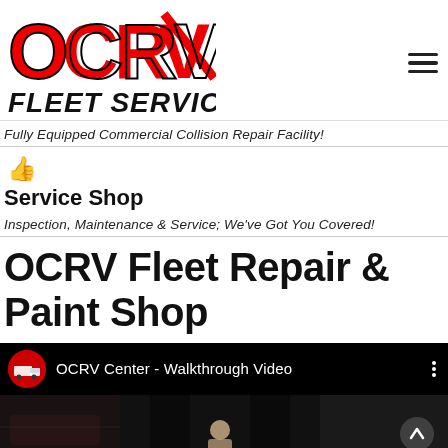[Figure (logo): OCRV Fleet Services logo with red bold OCRV letters and black italic FLEET SERVICES text below]
Fully Equipped Commercial Collision Repair Facility!
[Figure (illustration): Red thumbs-up icon]
Service Shop
Inspection, Maintenance & Service; We've Got You Covered!
OCRV Fleet Repair & Paint Shop
[Figure (screenshot): YouTube video embed showing OCRV Center - Walkthrough Video with channel icon, title, options dots, and video thumbnail with up arrow]